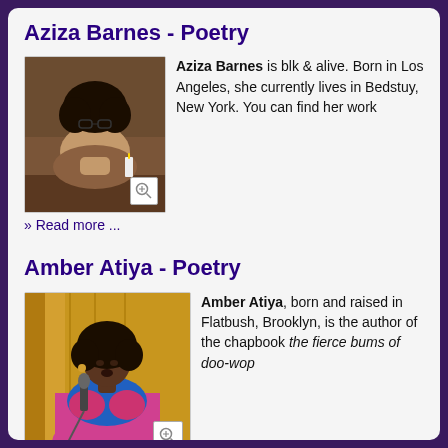Aziza Barnes - Poetry
[Figure (photo): Photo of Aziza Barnes sitting at a table with hands clasped near face, dark curly hair]
Aziza Barnes is blk & alive. Born in Los Angeles, she currently lives in Bedstuy, New York. You can find her work
» Read more ...
Amber Atiya - Poetry
[Figure (photo): Photo of Amber Atiya speaking into a microphone, wearing colorful top, natural hair, golden curtain background]
Amber Atiya, born and raised in Flatbush, Brooklyn, is the author of the chapbook the fierce bums of doo-wop
» Read more ...